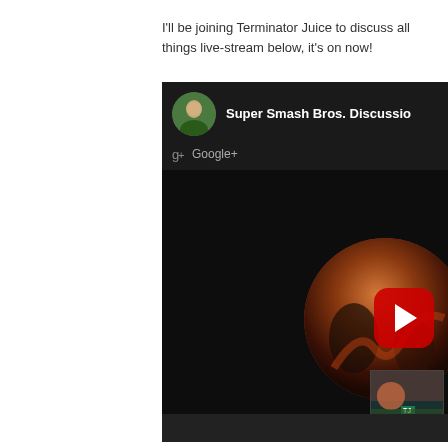I'll be joining Terminator Juice to discuss all things live-stream below, it's on now!
[Figure (screenshot): Embedded Google+ Hangout / YouTube live-stream player showing 'Super Smash Bros. Discussion' with a circular thumbnail featuring game artwork and a red YouTube play button, plus a smaller thumbnail in the corner.]